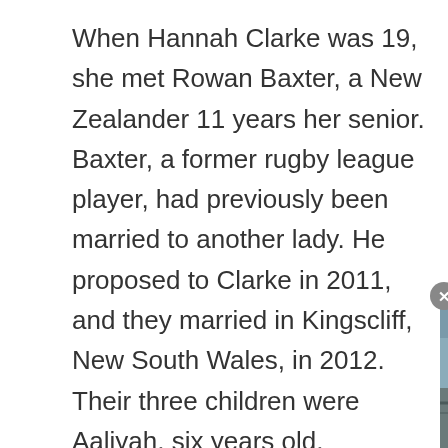When Hannah Clarke was 19, she met Rowan Baxter, a New Zealander 11 years her senior. Baxter, a former rugby league player, had previously been married to another lady. He proposed to Clarke in 2011, and they married in Kingscliff, New South Wales, in 2012. Their three children were Aaliyah, six years old, Laianah, four years old, and Trey, three years old.

Following the dea[th...] Baxter had torture[d her] physically, sexually, and financially during
[Figure (screenshot): Video overlay/player showing a street or bridge scene with a cyclist, with title 'Clip Siêu Đẹp Về P...' and a play button. A close (X) button appears at top-left of the overlay.]